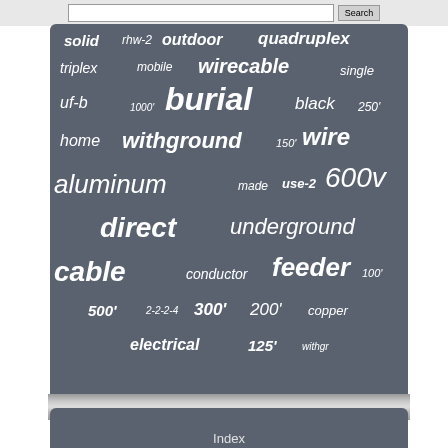[Figure (infographic): Word cloud on dark grey/blue background containing electrical cable and wire related search terms in varying sizes. Terms include: solid, rhw-2, outdoor, quadruplex, triplex, mobile, wirecable, single, uf-b, 1000', burial, black, 250', home, withground, 150', wire, aluminum, made, use-2, 600v, direct, underground, cable, conductor, feeder, 100', 500', 2-2-2-4, 300', 200', copper, electrical, 125', withgr]
Index
Contact